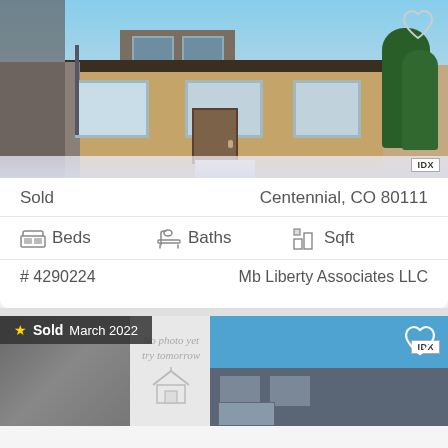[Figure (photo): Exterior photo of a brick and stucco multi-story house with large windows, evergreen trees, snowy ground, in Centennial CO]
Sold
Centennial, CO 80111
Beds   Baths   Sqft
# 4290224   Mb Liberty Associates LLC
[Figure (photo): Second listing card showing Sold March 2022 badge, partial house photo on left and blue sky on right, no photo placeholder in center with house icon and text No photo yet try tomorrow]
★ Sold March 2022